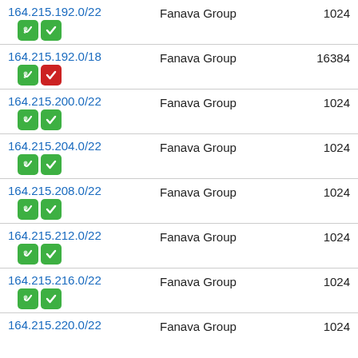164.215.192.0/22 | Fanava Group | 1024
164.215.192.0/18 | Fanava Group | 16384
164.215.200.0/22 | Fanava Group | 1024
164.215.204.0/22 | Fanava Group | 1024
164.215.208.0/22 | Fanava Group | 1024
164.215.212.0/22 | Fanava Group | 1024
164.215.216.0/22 | Fanava Group | 1024
164.215.220.0/22 | Fanava Group | 1024